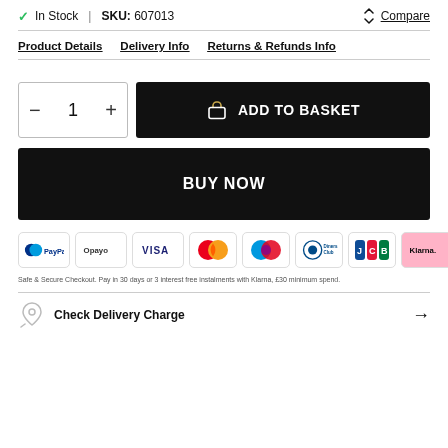✓ In Stock | SKU: 607013
Compare
Product Details   Delivery Info   Returns & Refunds Info
− 1 +
ADD TO BASKET
BUY NOW
[Figure (logo): Payment method logos: PayPal, Opayo, VISA, Mastercard, Maestro, Diners Club, JCB, Klarna]
Safe & Secure Checkout. Pay in 30 days or 3 interest free instalments with Klarna, £30 minimum spend.
Check Delivery Charge